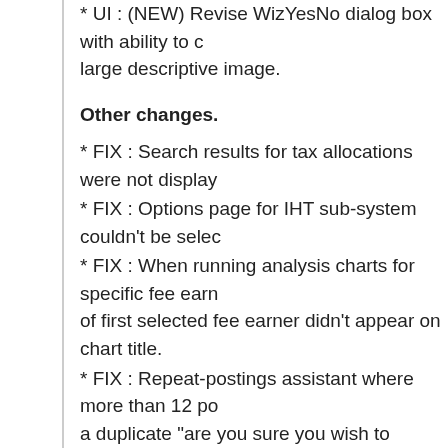* UI : (NEW) Revise WizYesNo dialog box with ability to display a large descriptive image.
Other changes.
* FIX : Search results for tax allocations were not display...
* FIX : Options page for IHT sub-system couldn't be selec...
* FIX : When running analysis charts for specific fee earn... of first selected fee earner didn't appear on chart title.
* FIX : Repeat-postings assistant where more than 12 po... a duplicate "are you sure you wish to proceed?" question...
* FIX : In some circumstances, importing of registry setti... Probate Plus version failed. Moved code to import regist... application startup sequence.
* FIX : First res ben listed in inMemResBenTable and Info... same so under certain circumstances EvalResBenShare... meant on-screen display of balancing penny could differ ...
* FIX : Edit dialog for expenses (admin or liabilities) was s... descriptions from helper lookup table (should have been...